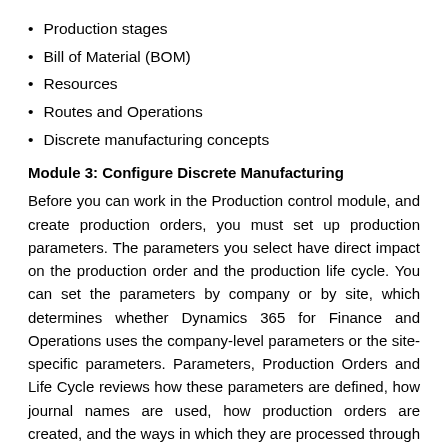Production stages
Bill of Material (BOM)
Resources
Routes and Operations
Discrete manufacturing concepts
Module 3: Configure Discrete Manufacturing
Before you can work in the Production control module, and create production orders, you must set up production parameters. The parameters you select have direct impact on the production order and the production life cycle. You can set the parameters by company or by site, which determines whether Dynamics 365 for Finance and Operations uses the company-level parameters or the site-specific parameters. Parameters, Production Orders and Life Cycle reviews how these parameters are defined, how journal names are used, how production orders are created, and the ways in which they are processed through manufacturing based on their status and the production life cycle. This lesson explains how to configure Discrete manufacturing in Finance and Operations.
Lessons